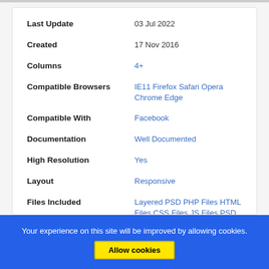| Field | Value |
| --- | --- |
| Last Update | 03 Jul 2022 |
| Created | 17 Nov 2016 |
| Columns | 4+ |
| Compatible Browsers | IE11 Firefox Safari Opera Chrome Edge |
| Compatible With | Facebook |
| Documentation | Well Documented |
| High Resolution | Yes |
| Layout | Responsive |
| Files Included | Layered PSD PHP Files HTML Files CSS Files JS Files PSD |
| Tags | accelerated mobile pages, amp, arabic, clean, google amp, gulp, ... |
Your experience on this site will be improved by allowing cookies.